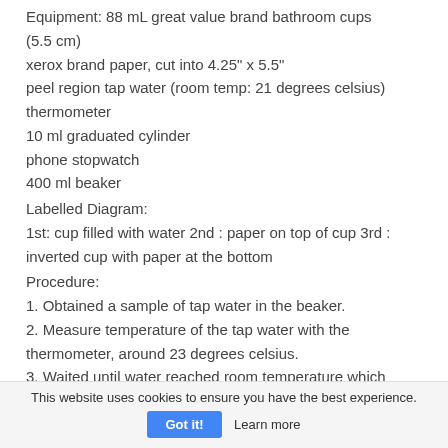Equipment: 88 mL great value brand bathroom cups (5.5 cm)
xerox brand paper, cut into 4.25" x 5.5"
peel region tap water (room temp: 21 degrees celsius)
thermometer
10 ml graduated cylinder
phone stopwatch
400 ml beaker
Labelled Diagram:
1st: cup filled with water 2nd : paper on top of cup 3rd : inverted cup with paper at the bottom
Procedure:
1. Obtained a sample of tap water in the beaker.
2. Measure temperature of the tap water with the thermometer, around 23 degrees celsius.
3. Waited until water reached room temperature which was 21 degrees celsius.
This website uses cookies to ensure you have the best experience.  Got it!  Learn more